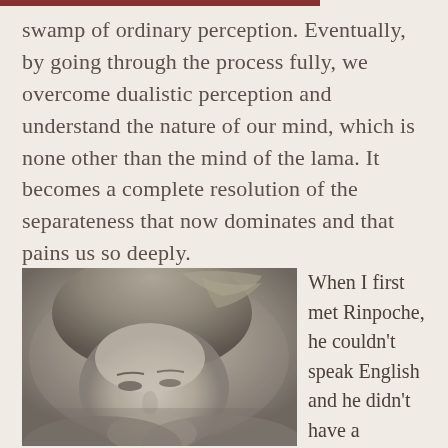swamp of ordinary perception. Eventually, by going through the process fully, we overcome dualistic perception and understand the nature of our mind, which is none other than the mind of the lama. It becomes a complete resolution of the separateness that now dominates and that pains us so deeply.
[Figure (photo): Black and white photograph of a person with wavy hair, shown from roughly the shoulders up, looking slightly downward. The image has a soft, vintage quality.]
When I first met Rinpoche, he couldn't speak English and he didn't have a translator. There was nothing at all